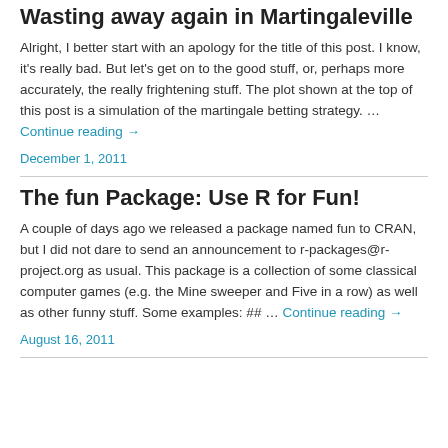Wasting away again in Martingaleville
Alright, I better start with an apology for the title of this post. I know, it's really bad. But let’s get on to the good stuff, or, perhaps more accurately, the really frightening stuff. The plot shown at the top of this post is a simulation of the martingale betting strategy. … Continue reading →
December 1, 2011
The fun Package: Use R for Fun!
A couple of days ago we released a package named fun to CRAN, but I did not dare to send an announcement to r-packages@r-project.org as usual. This package is a collection of some classical computer games (e.g. the Mine sweeper and Five in a row) as well as other funny stuff. Some examples: ## … Continue reading →
August 16, 2011